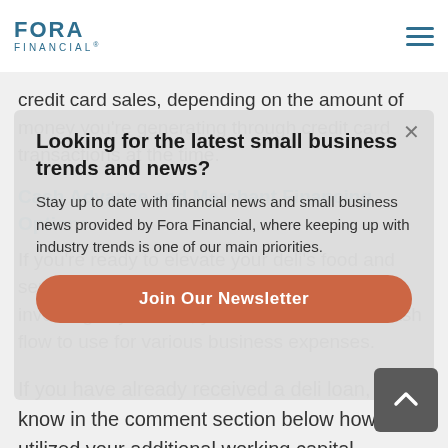FORA FINANCIAL
credit card sales, depending on the amount of money you're generating through credit card transactions at the time.
Cash Advance and Merchant Financing Options
If you're ready to elevate your deli's food and services, apply for business financing! By investing in your deli, you'll have additional cash flow to use for various business expenses.
If you have already received a deli loan, let us know in the comment section below how you utilized your additional working capital.
[Figure (infographic): Newsletter signup modal overlay with title 'Looking for the latest small business trends and news?', descriptive text about Fora Financial financial news, and an orange 'Join Our Newsletter' button. An X close button appears in the top right corner.]